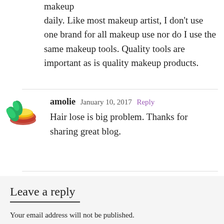makeup
daily. Like most makeup artist, I don't use one brand for all makeup use nor do I use the same makeup tools. Quality tools are important as is quality makeup products.
amolie  January 10, 2017  Reply
Hair lose is big problem. Thanks for sharing great blog.
Leave a reply
Your email address will not be published.
Required fields are marked *
Comment